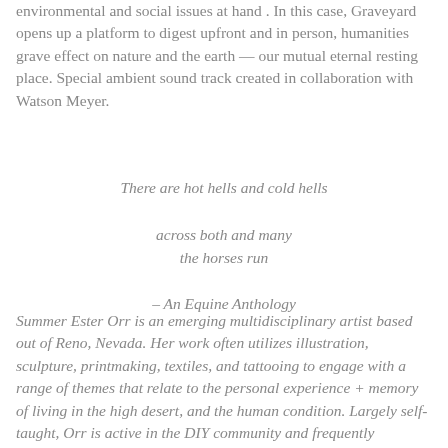environmental and social issues at hand . In this case, Graveyard opens up a platform to digest upfront and in person, humanities grave effect on nature and the earth — our mutual eternal resting place. Special ambient sound track created in collaboration with Watson Meyer.
There are hot hells and cold hells

across both and many
the horses run

– An Equine Anthology
Summer Ester Orr is an emerging multidisciplinary artist based out of Reno, Nevada. Her work often utilizes illustration, sculpture, printmaking, textiles, and tattooing to engage with a range of themes that relate to the personal experience + memory of living in the high desert, and the human condition. Largely self-taught, Orr is active in the DIY community and frequently organizes workshops and